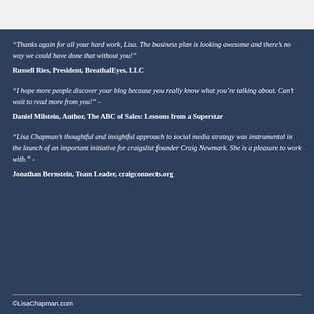“Thanks again for all your hard work, Lisa. The business plan is looking awesome and there’s no way we could have done that without you!”
Russell Ries, President, BreathalEyes, LLC
“I hope more people discover your blog because you really know what you’re talking about. Can’t wait to read more from you!” -
Daniel Milstein, Author, The ABC of Sales: Lessons from a Superstar
“Lisa Chapman’s thoughtful and insightful approach to social media strategy was instrumental in the launch of an important initiative for craigslist founder Craig Newmark. She is a pleasure to work with.” -
Jonathan Bernstein, Team Leader, craigconnects.org
©LisaChapman.com